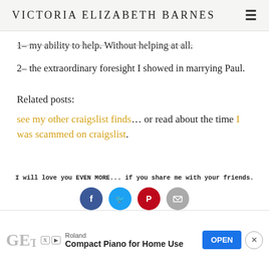VICTORIA ELIZABETH BARNES
1– my ability to help. Without helping at all.
2– the extraordinary foresight I showed in marrying Paul.
Related posts:
see my other craigslist finds… or read about the time I was scammed on craigslist.
I will love you EVEN MORE... if you share me with your friends.
[Figure (infographic): Social share buttons: Facebook (blue circle), Twitter (cyan circle), Pinterest (red circle), Email (gray circle)]